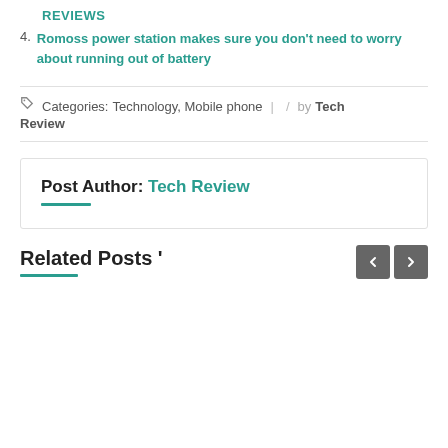REVIEWS
4. Romoss power station makes sure you don't need to worry about running out of battery
Categories: Technology, Mobile phone | / by Tech Review
Post Author: Tech Review
Related Posts '